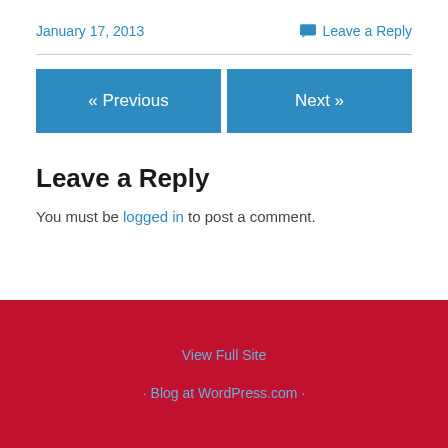January 17, 2013
Leave a Reply
« Previous
Next »
Leave a Reply
You must be logged in to post a comment.
View Full Site
Blog at WordPress.com